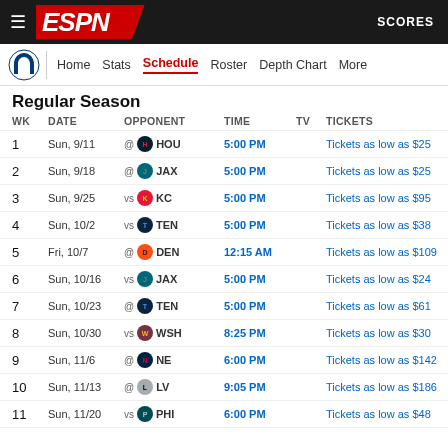ESPN — SCORES
Regular Season
| WK | DATE | OPPONENT | TIME | TV | TICKETS |
| --- | --- | --- | --- | --- | --- |
| 1 | Sun, 9/11 | @ HOU | 5:00 PM |  | Tickets as low as $25 |
| 2 | Sun, 9/18 | @ JAX | 5:00 PM |  | Tickets as low as $25 |
| 3 | Sun, 9/25 | vs KC | 5:00 PM |  | Tickets as low as $95 |
| 4 | Sun, 10/2 | vs TEN | 5:00 PM |  | Tickets as low as $38 |
| 5 | Fri, 10/7 | @ DEN | 12:15 AM |  | Tickets as low as $109 |
| 6 | Sun, 10/16 | vs JAX | 5:00 PM |  | Tickets as low as $24 |
| 7 | Sun, 10/23 | @ TEN | 5:00 PM |  | Tickets as low as $61 |
| 8 | Sun, 10/30 | vs WSH | 8:25 PM |  | Tickets as low as $30 |
| 9 | Sun, 11/6 | @ NE | 6:00 PM |  | Tickets as low as $142 |
| 10 | Sun, 11/13 | @ LV | 9:05 PM |  | Tickets as low as $186 |
| 11 | Sun, 11/20 | vs PHI | 6:00 PM |  | Tickets as low as $48 |